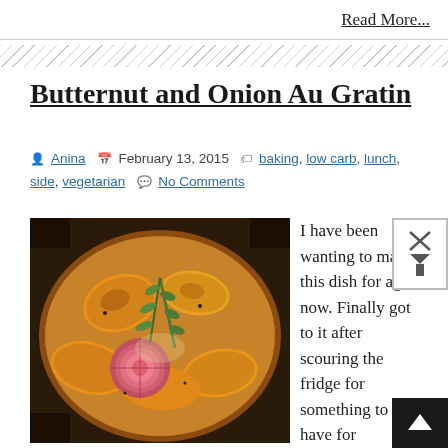Read More...
[Figure (illustration): Diagonal hatching divider bar]
Butternut and Onion Au Gratin
Anina  February 13, 2015  baking, low carb, lunch, side, vegetarian  No Comments
[Figure (photo): A baked butternut and onion au gratin dish in a round pan, garnished with fresh thyme, showing golden-brown caramelized butternut squash slices and a halved red onion.]
I have been wanting to make this dish for ages now. Finally got to it after scouring the fridge for something to have for